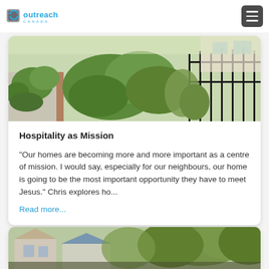Outreach Canada
[Figure (photo): Outdoor garden pathway with green shrubs, plants, and a black metal fence in the background]
Hospitality as Mission
"Our homes are becoming more and more important as a centre of mission. I would say, especially for our neighbours, our home is going to be the most important opportunity they have to meet Jesus." Chris explores ho...
Read more...
[Figure (photo): Partial view of a house exterior with trees in the background]